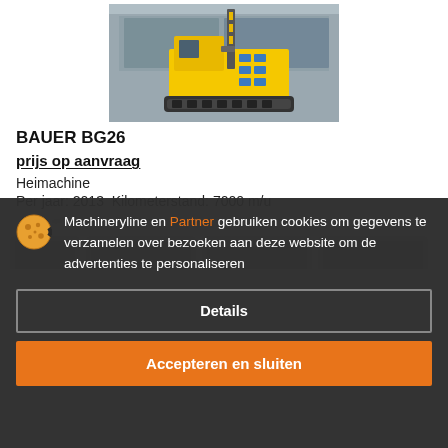[Figure (photo): Yellow and grey Bauer BG26 drilling/piling machine (Heimachine) on tracks, photographed in a construction site setting.]
BAUER BG26
prijs op aanvraag
Heimachine
Per jaar: 2013  Kilometerstand: 7000 m/u
Machineryline en Partner gebruiken cookies om gegevens te verzamelen over bezoeken aan deze website om de advertenties te personaliseren
Details
Accepteren en sluiten